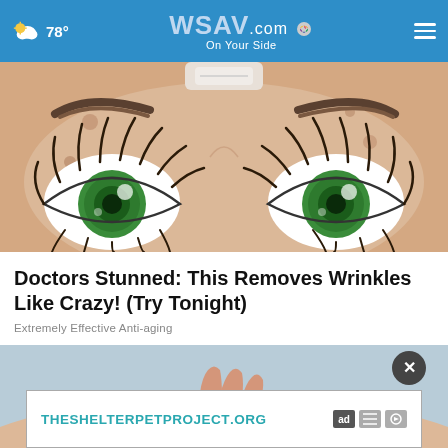78° WSAV.com On Your Side
[Figure (illustration): Close-up cartoon illustration of a woman's face showing eyes with long eyelashes, green irises, and skin blemishes, with a cream or lotion jar visible at top]
Doctors Stunned: This Removes Wrinkles Like Crazy! (Try Tonight)
Extremely Effective Anti-aging
[Figure (photo): Photo of a hand applying lotion or cream to skin against a light blue background]
THESHELTERPETPROJECT.ORG